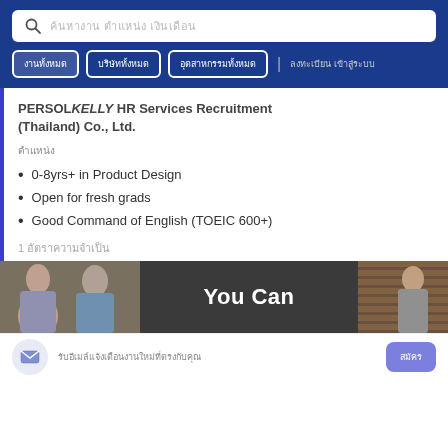[Search bar] [Thai nav buttons] [Thai link text]
PERSOL KELLY HR Services Recruitment (Thailand) Co., Ltd.
[Thai label text]
0-8yrs+ in Product Design
Open for fresh grads
Good Command of English (TOEIC 600+)
1 [Thai text for position/vacancy]
[Figure (photo): Banner with two people photos on left and right sides and 'You Can' text in center on dark background]
[Mail icon] [Thai subscription text] [Thai subscribe button]